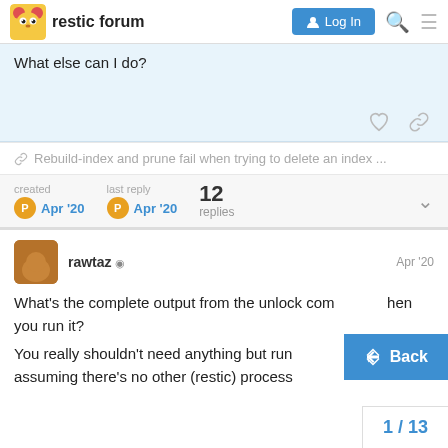restic forum  Log In
What else can I do?
Rebuild-index and prune fail when trying to delete an index ...
created  Apr '20   last reply  Apr '20   12 replies
rawtaz  Apr '20
What's the complete output from the unlock command when you run it?
You really shouldn't need anything but run assuming there's no other (restic) process
Back
1 / 13